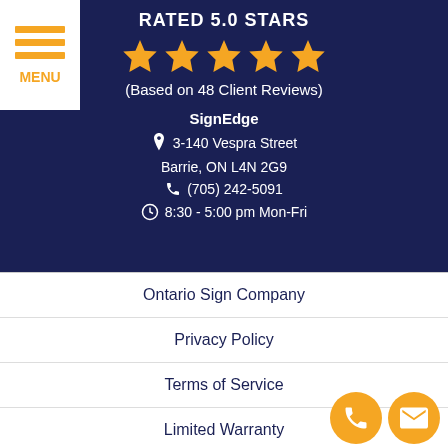[Figure (infographic): Orange menu hamburger icon with three horizontal bars and MENU label on white background, top-left corner]
RATED 5.0 STARS
[Figure (infographic): Five gold/yellow star rating icons in a row]
(Based on 48 Client Reviews)
SignEdge
3-140 Vespra Street
Barrie, ON L4N 2G9
(705) 242-5091
8:30 - 5:00 pm Mon-Fri
Ontario Sign Company
Privacy Policy
Terms of Service
Limited Warranty
[Figure (infographic): Two circular orange buttons: phone icon and envelope/mail icon, bottom right corner]